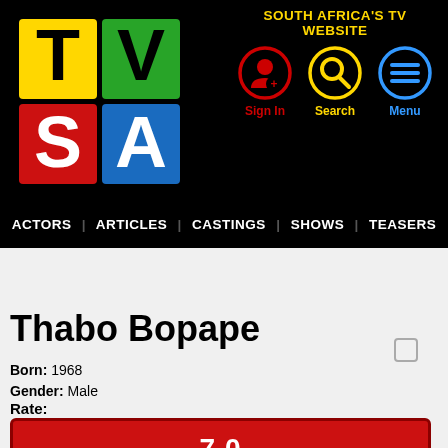[Figure (logo): TVSA logo with colorful TV letters on black background]
SOUTH AFRICA'S TV WEBSITE
[Figure (infographic): Sign In icon - red circle with person/plus symbol]
[Figure (infographic): Search icon - yellow circle with magnifying glass]
[Figure (infographic): Menu icon - blue circle with three horizontal lines]
ACTORS | ARTICLES | CASTINGS | SHOWS | TEASERS
Thabo Bopape
Born: 1968
Gender: Male
Rate:
7.0